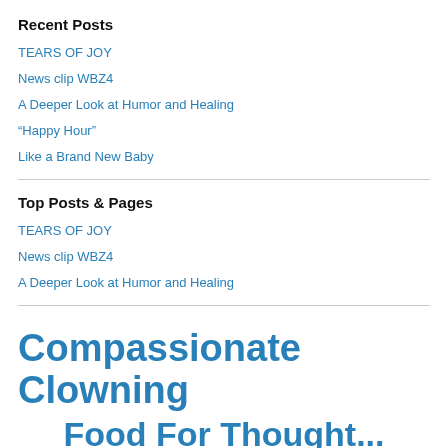Recent Posts
TEARS OF JOY
News clip WBZ4
A Deeper Look at Humor and Healing
“Happy Hour”
Like a Brand New Baby
Top Posts & Pages
TEARS OF JOY
News clip WBZ4
A Deeper Look at Humor and Healing
Compassionate Clowning
Food For Thought...